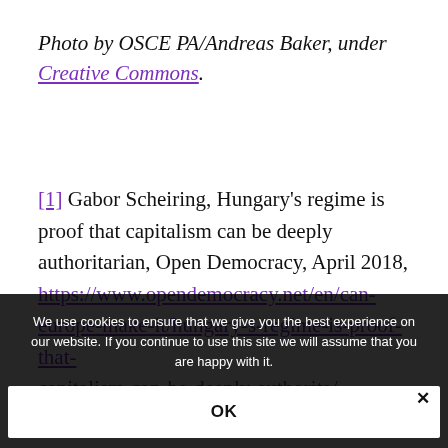Photo by OSCE PA/Andreas Baker, under Creative Commons.
[1] Gabor Scheiring, Hungary's regime is proof that capitalism can be deeply authoritarian, Open Democracy, April 2018, https://www.opendemocracy.net/en/can-europe-make-it/hungary-s-regime-is-proof-that-capitalism-can-be-deeply-authorita/
We use cookies to ensure that we give you the best experience on our website. If you continue to use this site we will assume that you are happy with it.
OK